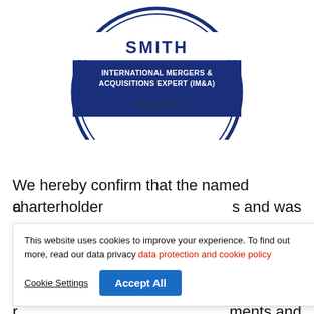[Figure (illustration): Circular badge/certificate seal with dark navy blue border. Top white band shows 'SMITH' in bold navy letters. Dark navy section shows text 'INTERNATIONAL MERGERS & ACQUISITIONS EXPERT (IM&A)' in white bold uppercase. Below that in white section: 'Online | 2021']
We hereby confirm that the named charterholder a[...] s and was a[...] M&A 2021.
This website uses cookies to improve your experience. To find out more, read our data privacy data protection and cookie policy
[...] od standing. [...] older needs to r[...] ments and s[...]